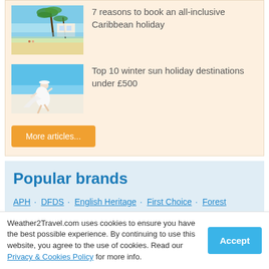[Figure (photo): Caribbean beach scene with palm trees, white sand, and turquoise water]
7 reasons to book an all-inclusive Caribbean holiday
[Figure (photo): Woman in white dress walking on a tropical beach]
Top 10 winter sun holiday destinations under £500
More articles...
Popular brands
APH · DFDS · English Heritage · First Choice · Forest Holidays · Holiday Autos · Iberostar · Jet2.com · Jet2holidays · Just Go Holidays · lastminute.com · Marella
Weather2Travel.com uses cookies to ensure you have the best possible experience. By continuing to use this website, you agree to the use of cookies. Read our Privacy & Cookies Policy for more info.